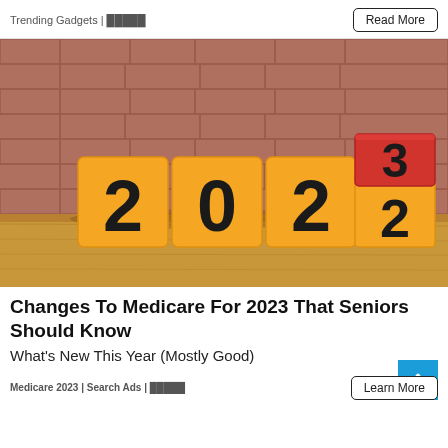Trending Gadgets | █████
[Figure (photo): Photo of wooden blocks spelling 2023, with the last block showing 3 on top flipping over to reveal 2, indicating the year change from 2022 to 2023. Brick wall background, wooden surface foreground.]
Changes To Medicare For 2023 That Seniors Should Know
What's New This Year (Mostly Good)
Medicare 2023 | Search Ads | █████